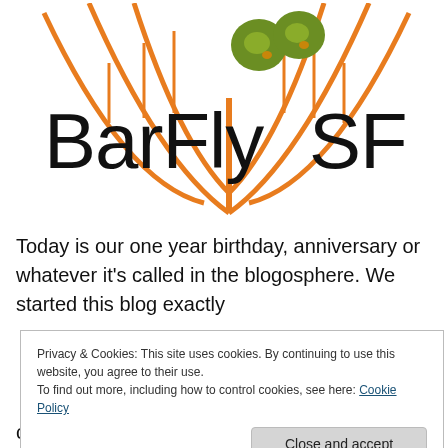[Figure (logo): BarFlySF logo: orange suspension bridge cable arcs with orange vertical lines, two green olive-like spheres, and text 'BarFly SF' in large black font]
Today is our one year birthday, anniversary or whatever it's called in the blogosphere. We started this blog exactly
Privacy & Cookies: This site uses cookies. By continuing to use this website, you agree to their use.
To find out more, including how to control cookies, see here: Cookie Policy
Close and accept
course).